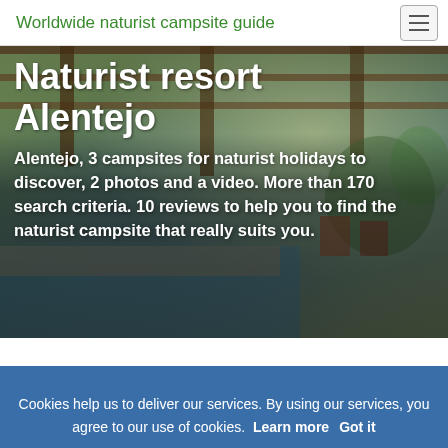Worldwide naturist campsite guide
Naturist resort Alentejo
Alentejo, 3 campsites for naturist holidays to discover, 2 photos and a video. More than 170 search criteria. 10 reviews to help you to find the naturist campsite that really suits you.
Location
Cookies help us to deliver our services. By using our services, you agree to our use of cookies. Learn more  Got it